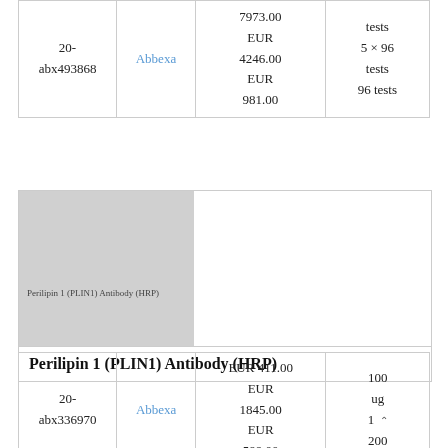| Product ID | Supplier | Price | Pack Size |
| --- | --- | --- | --- |
| 20-abx493868 | Abbexa | 7973.00 EUR
4246.00 EUR
981.00 | tests
5 × 96 tests
96 tests |
[Figure (photo): Product image placeholder for Perilipin 1 (PLIN1) Antibody (HRP), grey rectangle]
Perilipin 1 (PLIN1) Antibody (HRP)
| Product ID | Supplier | Price | Pack Size |
| --- | --- | --- | --- |
| 20-abx336970 | Abbexa | EUR 411.00
EUR 1845.00
EUR 599.00 | 100 ug
1
200 |